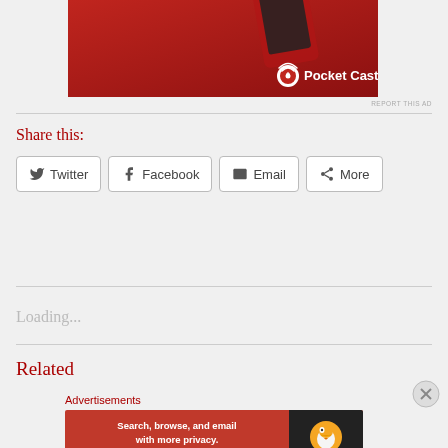[Figure (photo): Pocket Casts advertisement banner with red background and logo]
REPORT THIS AD
Share this:
Twitter
Facebook
Email
More
Loading...
Related
Advertisements
[Figure (photo): DuckDuckGo advertisement: Search, browse, and email with more privacy. All in One Free App]